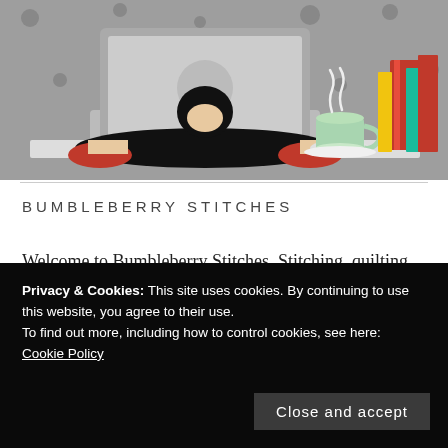[Figure (illustration): Cartoon illustration of a person with black hair lying on their stomach using a laptop, with a steaming coffee cup and stack of colorful books to the right, on a grey dotted background.]
BUMBLEBERRY STITCHES
Welcome to Bumbleberry Stitches. Stitching, quilting, gardening and all things home are all part of my Bumbleberry life. I look forward to sharing these things with you. Check out
Privacy & Cookies: This site uses cookies. By continuing to use this website, you agree to their use.
To find out more, including how to control cookies, see here:
Cookie Policy
Close and accept